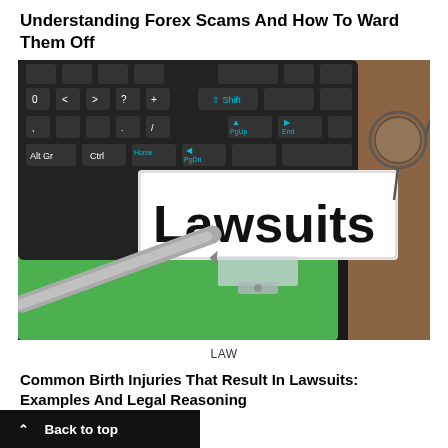Understanding Forex Scams And How To Ward Them Off
[Figure (photo): Photo of a black computer keyboard with a green folder, a pen, and a clear acrylic label holder displaying the word 'Lawsuits' in large black text. A pair of glasses is partially visible on the right side.]
LAW
Common Birth Injuries That Result In Lawsuits: Examples And Legal Reasoning